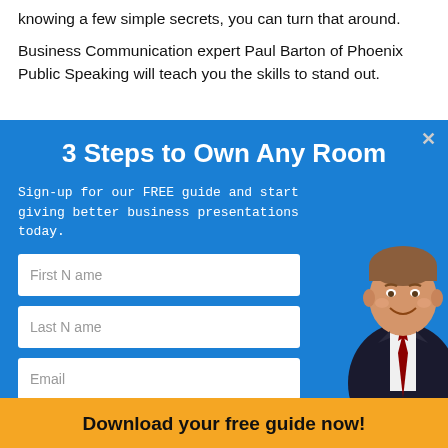knowing a few simple secrets, you can turn that around.
Business Communication expert Paul Barton of Phoenix Public Speaking will teach you the skills to stand out.
3 Steps to Own Any Room
Sign-up for our FREE guide and start giving better business presentations today.
[Figure (photo): Professional man in dark suit and red tie, smiling, photo on right side of modal]
First Name
Last Name
Email
Download your free guide now!